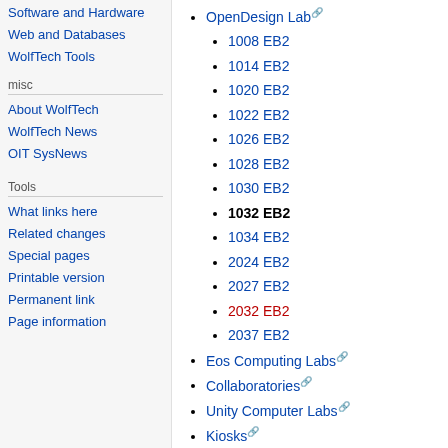Software and Hardware
Web and Databases
WolfTech Tools
misc
About WolfTech
WolfTech News
OIT SysNews
Tools
What links here
Related changes
Special pages
Printable version
Permanent link
Page information
OpenDesign Lab
1008 EB2
1014 EB2
1020 EB2
1022 EB2
1026 EB2
1028 EB2
1030 EB2
1032 EB2 (current)
1034 EB2
2024 EB2
2027 EB2
2032 EB2
2037 EB2
Eos Computing Labs
Collaboratories
Unity Computer Labs
Kiosks
Accessibility